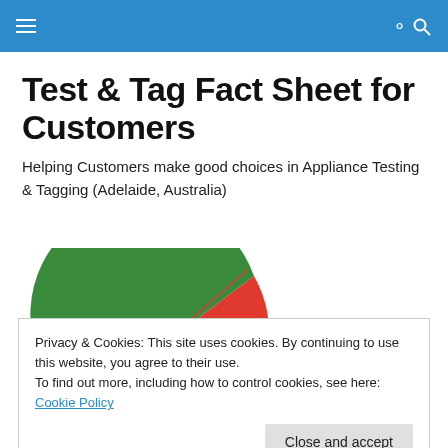Test & Tag Fact Sheet for Customers
Helping Customers make good choices in Appliance Testing & Tagging (Adelaide, Australia)
[Figure (pie-chart): Partial pie/donut chart showing a large green segment and a smaller red segment, with a thin red line pointer, viewed from top (semi-circle only visible)]
Privacy & Cookies: This site uses cookies. By continuing to use this website, you agree to their use.
To find out more, including how to control cookies, see here: Cookie Policy
Close and accept
a Smoke Alarm